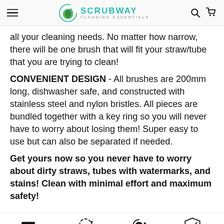SCRUBWAY CLEANING ESSENTIALS
all your cleaning needs. No matter how narrow, there will be one brush that will fit your straw/tube that you are trying to clean!
CONVENIENT DESIGN - All brushes are 200mm long, dishwasher safe, and constructed with stainless steel and nylon bristles. All pieces are bundled together with a key ring so you will never have to worry about losing them! Super easy to use but can also be separated if needed.
Get yours now so you never have to worry about dirty straws, tubes with watermarks, and stains! Clean with minimal effort and maximum safety!
[Figure (infographic): Four icons with labels at bottom: FREE SHIPPING (truck icon), QUICK AND (circular arrow icon), MONEY BACK (dollar sign circular arrow icon), SECURED (shield with checkmark icon)]